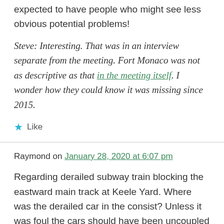expected to have people who might see less obvious potential problems!
Steve: Interesting. That was in an interview separate from the meeting. Fort Monaco was not as descriptive as that in the meeting itself. I wonder how they could know it was missing since 2015.
★ Like
Raymond on January 28, 2020 at 6:07 pm
Regarding derailed subway train blocking the eastward main track at Keele Yard. Where was the derailed car in the consist? Unless it was foul the cars should have been uncoupled and pulled away. Delay minimal compared to what took